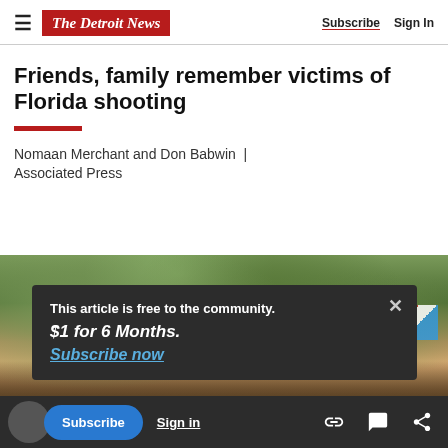The Detroit News | Subscribe | Sign In
Friends, family remember victims of Florida shooting
Nomaan Merchant and Don Babwin | Associated Press
[Figure (photo): Outdoor crowd photo with people and palm trees in the background, colorful crowd with flags visible]
This article is free to the community.
$1 for 6 Months.
Subscribe now